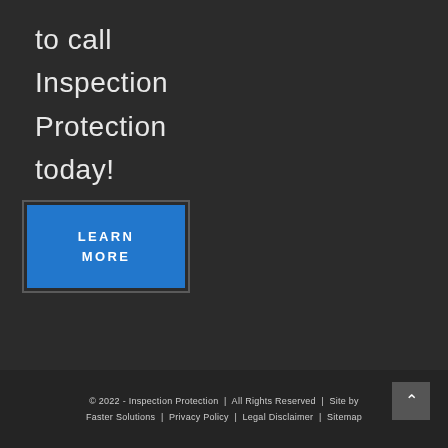to call
Inspection
Protection
today!
LEARN MORE
© 2022 - Inspection Protection  |  All Rights Reserved  |  Site by Faster Solutions  |  Privacy Policy  |  Legal Disclaimer  |  Sitemap